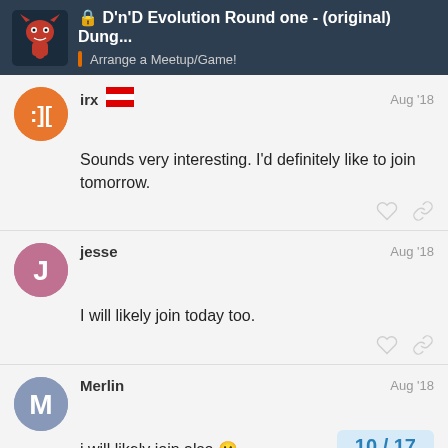D'n'D Evolution Round one - (original) Dung... | Arrange a Meetup/Game!
irx   Aug '18
Sounds very interesting. I'd definitely like to join tomorrow.
jesse   Aug '18
I will likely join today too.
Merlin   Aug '18
i will likely join also 🙂
10 / 17